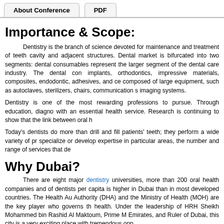About Conference | PDF
Importance & Scope:
Dentistry is the branch of science devoted for maintenance and treatment of teeth cavity and adjacent structures. Dental market is bifurcated into two segments: dental consumables represent the larger segment of the dental care industry. The dental con implants, orthodontics, impressive materials, composites, endodontic, adhesives, and ce composed of large equipment, such as autoclaves, sterilizers, chairs, communication s imaging systems.
Dentistry is one of the most rewarding professions to pursue. Through education, diagno with an essential health service. Research is continuing to show that the link between oral h
Today's dentists do more than drill and fill patients' teeth; they perform a wide variety of pr specialize or develop expertise in particular areas, the number and range of services that de
Why Dubai?
There are eight major dentistry universities, more than 200 oral health companies and of dentists per capita is higher in Dubai than in most developed countries. The Health Au Authority (DHA) and the Ministry of Health (MOH) are the key player who governs th health. Under the leadership of HRH Sheikh Mohammed bin Rashid Al Maktoum, Prime M Emirates, and Ruler of Dubai, this city is a very exciting place with tremendous opp